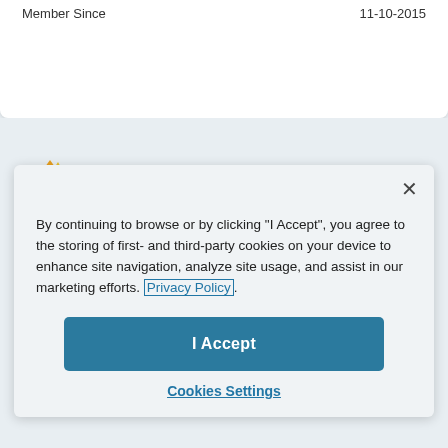| Member Since | 11-10-2015 |
| --- | --- |
[Figure (logo): Instructure logo - partial flame/mountain icon in orange/red/yellow with 'INSTRUCTURE' text in dark teal]
By continuing to browse or by clicking "I Accept", you agree to the storing of first- and third-party cookies on your device to enhance site navigation, analyze site usage, and assist in our marketing efforts. Privacy Policy.
I Accept
Cookies Settings